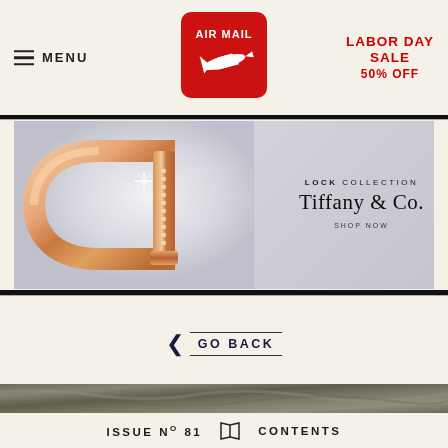≡ MENU | AIR MAIL | LABOR DAY SALE 50% OFF
[Figure (photo): Tiffany & Co. Lock Collection bracelet advertisement. Rose gold diamond-encrusted carabiner-style bracelet on grey background with text: LOCK COLLECTION TIFFANY & CO. SHOP NOW]
◀ GO BACK
[Figure (photo): Marble textured strip]
ISSUE № 81  [book icon]  CONTENTS